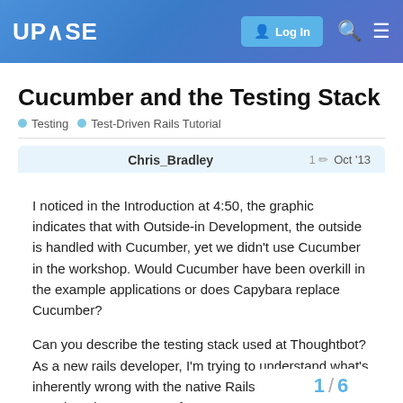UPCASE — Log In
Cucumber and the Testing Stack
Testing   Test-Driven Rails Tutorial
Chris_Bradley   1 ✏  Oct '13
I noticed in the Introduction at 4:50, the graphic indicates that with Outside-in Development, the outside is handled with Cucumber, yet we didn't use Cucumber in the workshop. Would Cucumber have been overkill in the example applications or does Capybara replace Cucumber?

Can you describe the testing stack used at Thoughtbot? As a new rails developer, I'm trying to understand what's inherently wrong with the native Rails test suite. Most TDD learning resources focus on RSpec in combination with other components.
1 / 6